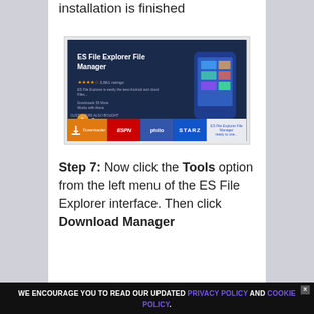installation is finished
[Figure (screenshot): ES File Explorer File Manager app page on Amazon Fire Stick showing Open button and related apps in bottom bar including ESPN, Philo, and STARZ]
Step 7: Now click the Tools option from the left menu of the ES File Explorer interface. Then click Download Manager
WE ENCOURAGE YOU TO READ OUR UPDATED PRIVACY POLICY AND COOKIE POLICY.